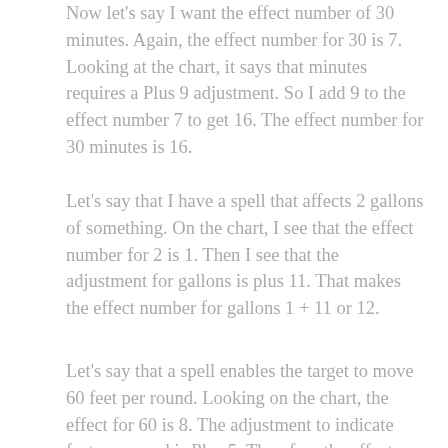Now let's say I want the effect number of 30 minutes. Again, the effect number for 30 is 7. Looking at the chart, it says that minutes requires a Plus 9 adjustment. So I add 9 to the effect number 7 to get 16. The effect number for 30 minutes is 16.
Let's say that I have a spell that affects 2 gallons of something. On the chart, I see that the effect number for 2 is 1. Then I see that the adjustment for gallons is plus 11. That makes the effect number for gallons 1 + 11 or 12.
Let's say that a spell enables the target to move 60 feet per round. Looking on the chart, the effect for 60 is 8. The adjustment to indicate feet per round is Plus 5. Therefore the effect number for moving 60 feet per round is 13.